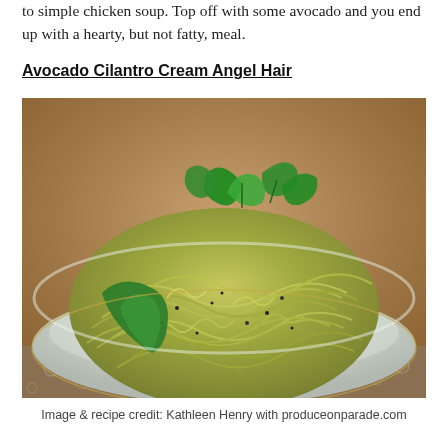to simple chicken soup. Top off with some avocado and you end up with a hearty, but not fatty, meal.
Avocado Cilantro Cream Angel Hair
[Figure (photo): A white bowl filled with angel hair pasta coated in avocado cilantro cream sauce, topped with fresh cilantro leaves, placed on a decorative cloth napkin with a warm brown background.]
Image & recipe credit: Kathleen Henry with produceonparade.com